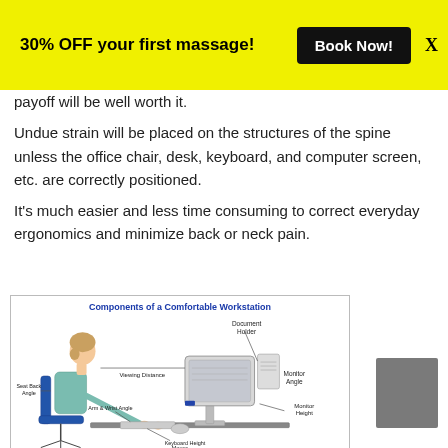30% OFF your first massage! Book Now! X
payoff will be well worth it.
Undue strain will be placed on the structures of the spine unless the office chair, desk, keyboard, and computer screen, etc. are correctly positioned.
It’s much easier and less time consuming to correct everyday ergonomics and minimize back or neck pain.
[Figure (illustration): Diagram titled 'Components of a Comfortable Workstation' showing a person seated at a desk with a computer monitor, with labeled components: Document Holder, Viewing Distance, Monitor Angle, Seat Back Angle, Monitor Height, Arm & Wrist Angle, Keyboard Height, Mouse.]